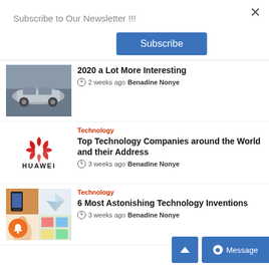×
Subscribe to Our Newsletter !!!
Subscribe
2020 a Lot More Interesting
2 weeks ago  Benadine Nonye
Technology
Top Technology Companies around the World and their Address
3 weeks ago  Benadine Nonye
[Figure (logo): Huawei logo — red flower/petal emblem above HUAWEI wordmark]
Technology
6 Most Astonishing Technology Inventions
3 weeks ago  Benadine Nonye
[Figure (photo): Grid of technology-related images: phone, diamond, orange notification bell overlay]
[Figure (photo): Scroll to top arrow button (blue)]
[Figure (other): Message button (blue) with dot icon]